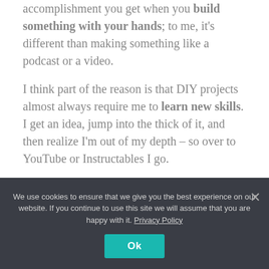accomplishment you get when you build something with your hands; to me, it's different than making something like a podcast or a video.
I think part of the reason is that DIY projects almost always require me to learn new skills. I get an idea, jump into the thick of it, and then realize I'm out of my depth – so over to YouTube or Instructables I go.
Once the project is done, I now not only have the thing I've built, but I also have a bunch of new skills and knowledge – how to properly…
We use cookies to ensure that we give you the best experience on our website. If you continue to use this site we will assume that you are happy with it. Privacy Policy